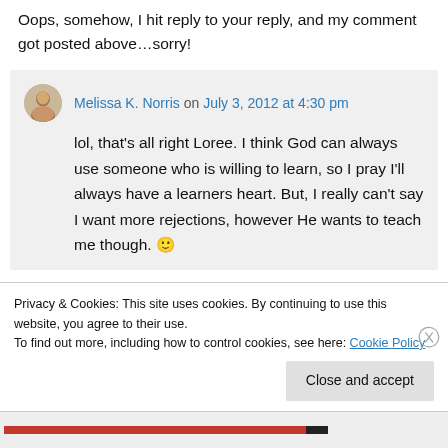Oops, somehow, I hit reply to your reply, and my comment got posted above…sorry!
Melissa K. Norris on July 3, 2012 at 4:30 pm
lol, that's all right Loree. I think God can always use someone who is willing to learn, so I pray I'll always have a learners heart. But, I really can't say I want more rejections, however He wants to teach me though. 🙂
Privacy & Cookies: This site uses cookies. By continuing to use this website, you agree to their use.
To find out more, including how to control cookies, see here: Cookie Policy
Close and accept